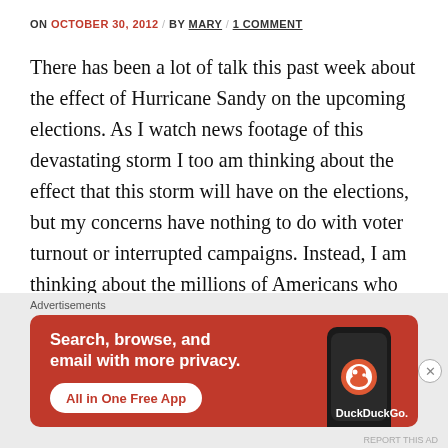ON OCTOBER 30, 2012 / BY MARY / 1 COMMENT
There has been a lot of talk this past week about the effect of Hurricane Sandy on the upcoming elections. As I watch news footage of this devastating storm I too am thinking about the effect that this storm will have on the elections, but my concerns have nothing to do with voter turnout or interrupted campaigns. Instead, I am thinking about the millions of Americans who are watching the same news footage that I am watching and
[Figure (screenshot): DuckDuckGo advertisement banner. Orange/red background with white text reading 'Search, browse, and email with more privacy. All in One Free App' with a phone illustration showing the DuckDuckGo logo.]